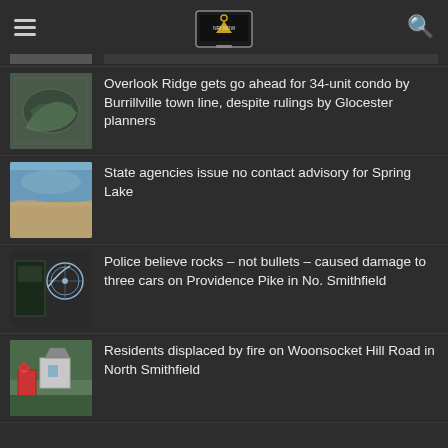NRI Now
Overlook Ridge gets go ahead for 34-unit condo by Burrillville town line, despite rulings by Glocester planners
State agencies issue no contact advisory for Spring Lake
Police believe rocks – not bullets – caused damage to three cars on Providence Pike in No. Smithfield
Residents displaced by fire on Woonsocket Hill Road in North Smithfield